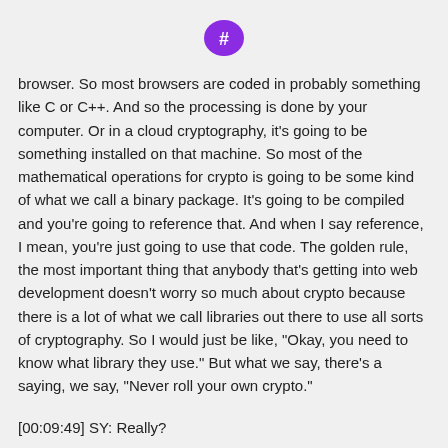[Figure (logo): Purple speech bubble icon with a hash/number symbol inside]
browser. So most browsers are coded in probably something like C or C++. And so the processing is done by your computer. Or in a cloud cryptography, it's going to be something installed on that machine. So most of the mathematical operations for crypto is going to be some kind of what we call a binary package. It's going to be compiled and you're going to reference that. And when I say reference, I mean, you're just going to use that code. The golden rule, the most important thing that anybody that's getting into web development doesn't worry so much about crypto because there is a lot of what we call libraries out there to use all sorts of cryptography. So I would just be like, "Okay, you need to know what library they use." But what we say, there's a saying, we say, "Never roll your own crypto."
[00:09:49] SY: Really?
[00:09:50] MC: Never roll your own crypto. That means don't